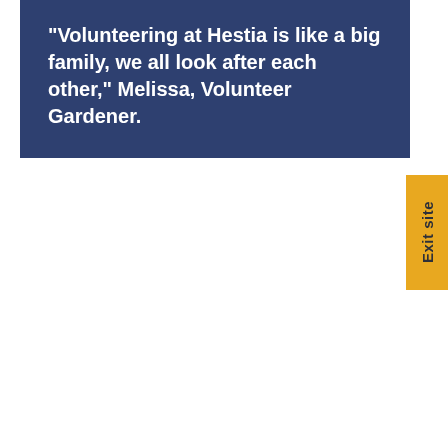“Volunteering at Hestia is like a big family, we all look after each other,” Melissa, Volunteer Gardener.
Exit site